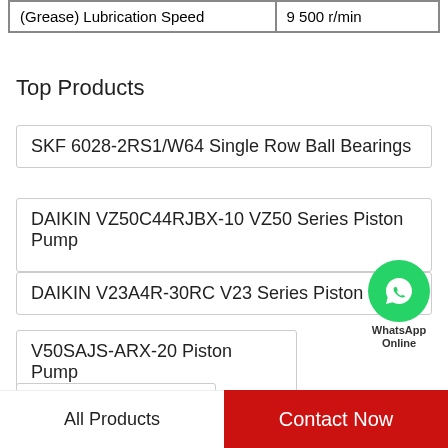| (Grease) Lubrication Speed | 9 500 r/min |
Top Products
SKF 6028-2RS1/W64 Single Row Ball Bearings
DAIKIN VZ50C44RJBX-10 VZ50 Series Piston Pump
DAIKIN V23A4R-30RC V23 Series Piston Pump
V50SAJS-ARX-20 Piston Pump
Timken 663 Bearing
All Products   Contact Now